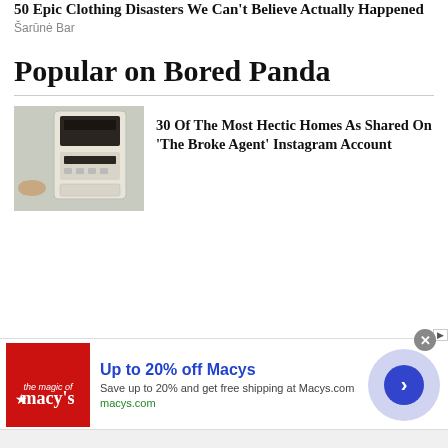50 Epic Clothing Disasters We Can't Believe Actually Happened
Šarūnė Bar
Popular on Bored Panda
30 Of The Most Hectic Homes As Shared On 'The Broke Agent' Instagram Account
[Figure (photo): Photo of a home appliance or intercom device mounted on a wall]
[Figure (other): Macy's advertisement banner: Up to 20% off Macys, Save up to 20% and get free shipping at Macys.com, macys.com]